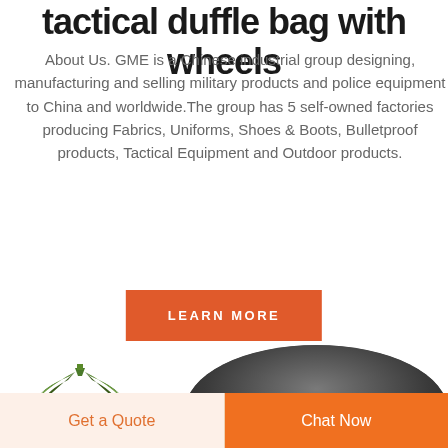tactical duffle bag with wheels
About Us. GME is a Chinese industrial group designing, manufacturing and selling military products and police equipment to China and worldwide.The group has 5 self-owned factories producing Fabrics, Uniforms, Shoes & Boots, Bulletproof products, Tactical Equipment and Outdoor products.
LEARN MORE
[Figure (logo): DEEKON logo with camouflage wing design above bold red DEEKON text]
[Figure (photo): Dark tactical duffle bag product photo, top portion visible]
Get a Quote
Chat Now